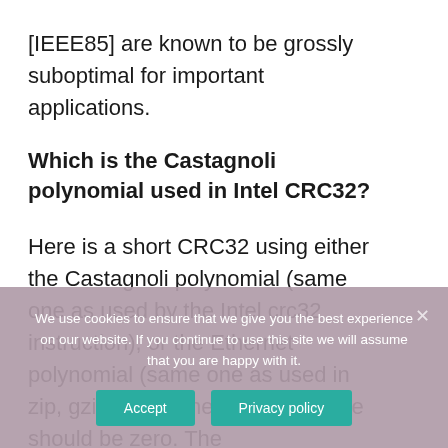[IEEE85] are known to be grossly suboptimal for important applications.
Which is the Castagnoli polynomial used in Intel CRC32?
Here is a short CRC32 using either the Castagnoli polynomial (same one as used by the Intel crc32 instruction), or the Ethernet polynomial (same one as used in zip, gzip, etc.). The initial crc value should be zero. The
We use cookies to ensure that we give you the best experience on our website. If you continue to use this site we will assume that you are happy with it.